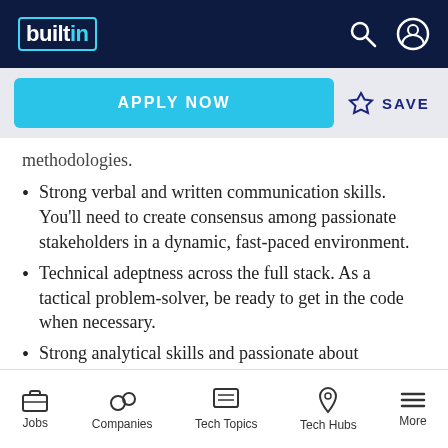builtin
APPLY NOW   ☆ SAVE
methodologies.
Strong verbal and written communication skills. You'll need to create consensus among passionate stakeholders in a dynamic, fast-paced environment.
Technical adeptness across the full stack. As a tactical problem-solver, be ready to get in the code when necessary.
Strong analytical skills and passionate about answering questions with data.
Ability to work in a fast-paced environment
Jobs   Companies   Tech Topics   Tech Hubs   More